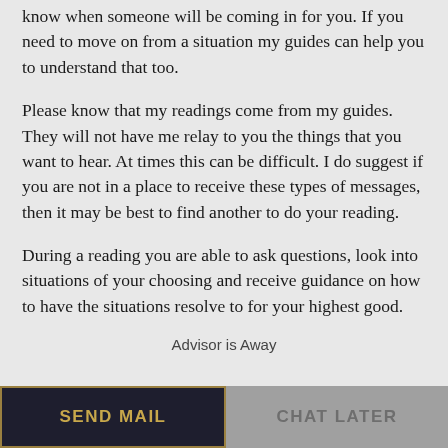know when someone will be coming in for you. If you need to move on from a situation my guides can help you to understand that too.
Please know that my readings come from my guides. They will not have me relay to you the things that you want to hear. At times this can be difficult. I do suggest if you are not in a place to receive these types of messages, then it may be best to find another to do your reading.
During a reading you are able to ask questions, look into situations of your choosing and receive guidance on how to have the situations resolve to for your highest good.
Remember there is always free will and choice involved when you
Advisor is Away
SEND MAIL
CHAT LATER